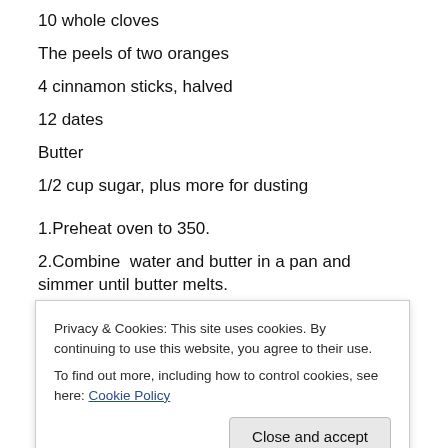10 whole cloves
The peels of two oranges
4 cinnamon sticks, halved
12 dates
Butter
1/2 cup sugar, plus more for dusting
1.Preheat oven to 350.
2.Combine  water and butter in a pan and simmer until butter melts.
3.Meanwhile, stir egg yolks into the flour until evenly distributed.
Privacy & Cookies: This site uses cookies. By continuing to use this website, you agree to their use.
To find out more, including how to control cookies, see here: Cookie Policy
the bottom crust in, making sure it also covers the sides of